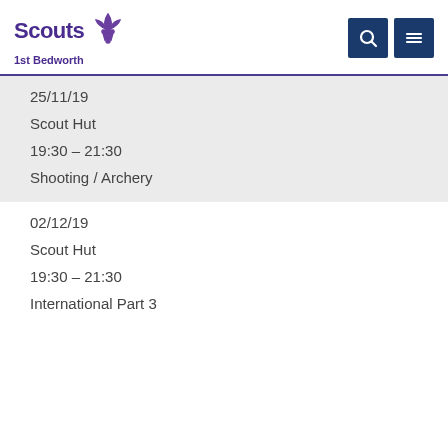Scouts 1st Bedworth
25/11/19
Scout Hut
19:30 – 21:30
Shooting / Archery
02/12/19
Scout Hut
19:30 – 21:30
International Part 3